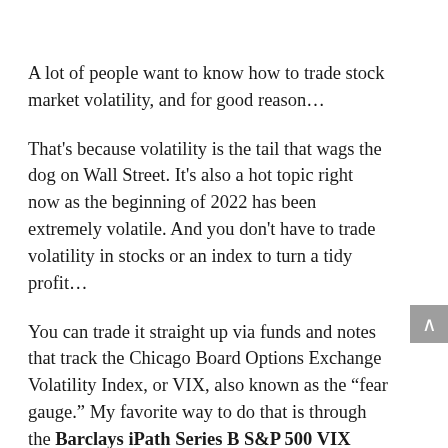A lot of people want to know how to trade stock market volatility, and for good reason…
That's because volatility is the tail that wags the dog on Wall Street. It's also a hot topic right now as the beginning of 2022 has been extremely volatile. And you don't have to trade volatility in stocks or an index to turn a tidy profit…
You can trade it straight up via funds and notes that track the Chicago Board Options Exchange Volatility Index, or VIX, also known as the "fear gauge." My favorite way to do that is through the Barclays iPath Series B S&P 500 VIX Short-